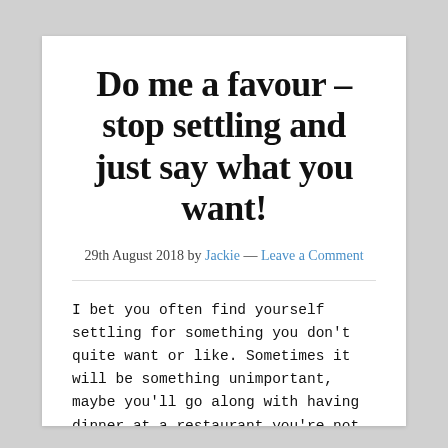Do me a favour – stop settling and just say what you want!
29th August 2018 by Jackie — Leave a Comment
I bet you often find yourself settling for something you don't quite want or like. Sometimes it will be something unimportant, maybe you'll go along with having dinner at a restaurant you're not keen on, or seeing a film you don't really fancy.  Other times it will be big and serious, life affecting even – to do with your job or partner, maybe. We all put up with stuff,